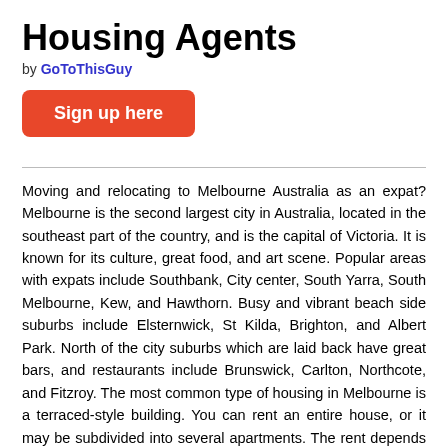Housing Agents
by GoToThisGuy
[Figure (other): Orange rounded rectangle button with white bold text 'Sign up here']
Moving and relocating to Melbourne Australia as an expat? Melbourne is the second largest city in Australia, located in the southeast part of the country, and is the capital of Victoria. It is known for its culture, great food, and art scene. Popular areas with expats include Southbank, City center, South Yarra, South Melbourne, Kew, and Hawthorn. Busy and vibrant beach side suburbs include Elsternwick, St Kilda, Brighton, and Albert Park. North of the city suburbs which are laid back have great bars, and restaurants include Brunswick, Carlton, Northcote, and Fitzroy. The most common type of housing in Melbourne is a terraced-style building. You can rent an entire house, or it may be subdivided into several apartments. The rent depends on the suburb where you live. Once you have found your ideal accommodation for living in Melbourne, do not hesitate to make your interest clear. Competition is fierce, and real estate agents do not only expect potential tenants to make personal appointments, but in some cases, you may also need to hand in written applications or references. At housing agent we have various